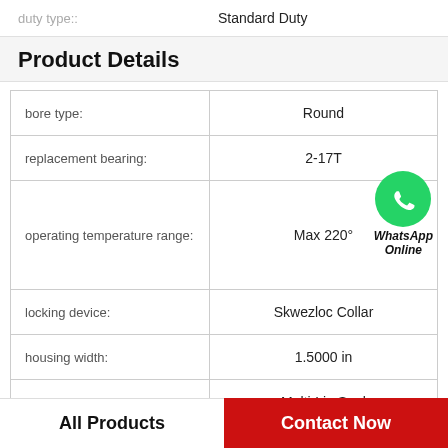duty type:: Standard Duty
Product Details
|  |  |
| --- | --- |
| bore type: | Round |
| replacement bearing: | 2-17T |
| operating temperature range: | Max 220° |
| locking device: | Skwezloc Collar |
| housing width: | 1.5000 in |
| seal type: | Multi-Lip Seal |
[Figure (logo): WhatsApp Online green phone icon badge with italic bold text 'WhatsApp Online']
All Products
Contact Now